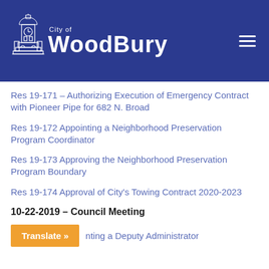[Figure (logo): City of Woodbury logo with building/tower illustration in white on dark blue background, with hamburger menu icon on the right]
Res 19-171 – Authorizing Execution of Emergency Contract with Pioneer Pipe for 682 N. Broad
Res 19-172 Appointing a Neighborhood Preservation Program Coordinator
Res 19-173 Approving the Neighborhood Preservation Program Boundary
Res 19-174 Approval of City's Towing Contract 2020-2023
10-22-2019 – Council Meeting
Appointing a Deputy Administrator